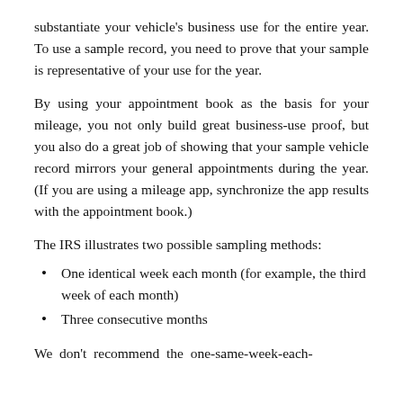substantiate your vehicle's business use for the entire year. To use a sample record, you need to prove that your sample is representative of your use for the year.
By using your appointment book as the basis for your mileage, you not only build great business-use proof, but you also do a great job of showing that your sample vehicle record mirrors your general appointments during the year. (If you are using a mileage app, synchronize the app results with the appointment book.)
The IRS illustrates two possible sampling methods:
One identical week each month (for example, the third week of each month)
Three consecutive months
We don't recommend the one-same-week-each-